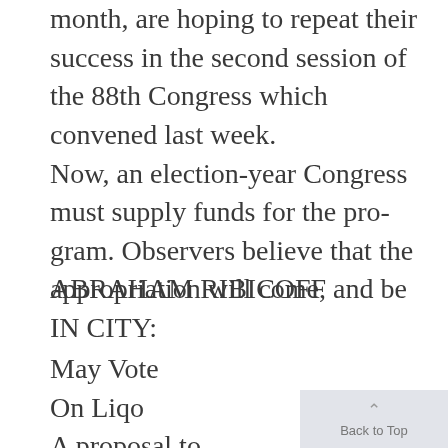month, are hoping to repeat their success in the second session of the 88th Congress which convened last week. Now, an election-year Congress must supply funds for the program. Observers believe that the appropriation will come, and be
ABRAHAM RIBICOFF IN CITY:
May Vote On Liqo A proposal to extend the by-